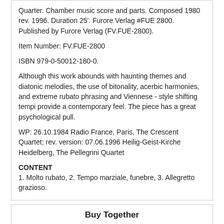Quarter. Chamber music score and parts. Composed 1980 rev. 1996. Duration 25'. Furore Verlag #FUE 2800. Published by Furore Verlag (FV.FUE-2800).
Item Number: FV.FUE-2800
ISBN 979-0-50012-180-0.
Although this work abounds with haunting themes and diatonic melodies, the use of bitonality, acerbic harmonies, and extreme rubato phrasing and Viennese - style shifting tempi provide a contemporary feel. The piece has a great psychological pull.
WP: 26.10.1984 Radio France, Paris, The Crescent Quartet; rev. version: 07.06.1996 Heilig-Geist-Kirche Heidelberg, The Pellegrini Quartet
CONTENT
1. Molto rubato, 2. Tempo marziale, funebre, 3. Allegretto grazioso.
Buy Together
[Figure (other): Empty white box placeholder for a product image, price $35.95]
[Figure (illustration): Illustration of a black gooseneck/flexible arm music stand light with a clip base, price $23.19]